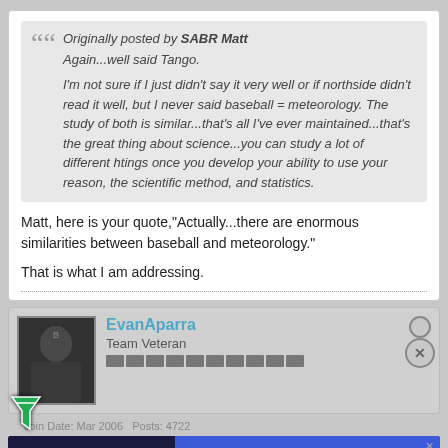Originally posted by SABR Matt
Again...well said Tango.

I'm not sure if I just didn't say it very well or if northside didn't read it well, but I never said baseball = meteorology. The study of both is similar...that's all I've ever maintained...that's the great thing about science...you can study a lot of different htings once you develop your ability to use your reason, the scientific method, and statistics.
Matt, here is your quote,"Actually...there are enormous similarities between baseball and meteorology."
That is what I am addressing.
EvanAparra
Team Veteran
Join Date: Mar 2006   Posts: 4722
[Figure (screenshot): Disney Bundle advertisement banner: hulu Disney+ ESPN+ GET THE DISNEY BUNDLE. Incl. Hulu (ad-supported) or Hulu (No Ads). Access content from each service separately. ©2021 Disney and its related entities.]
Originally posted by northside